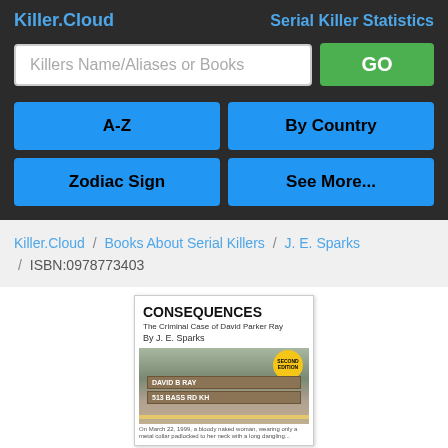Killer.Cloud — Serial Killer Statistics
Killers Name/Aliases or Books
GO
A-Z
By Country
Zodiac Sign
See More...
Killer.Cloud / Books About Serial Killers / J. E. Sparks / ISBN:0978773403
[Figure (photo): Book cover for 'Consequences: The Criminal Case of David Parker Ray' by J. E. Sparks, Second Edition. Shows the book title, subtitle, author name, a Second Edition badge, and a photo of a crime scene sign reading 'DAVID B RAY / 513 BASS RD KH' with yellow crime tape.]